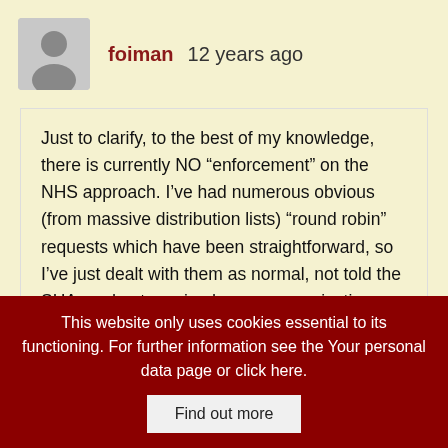foiman  12 years ago
Just to clarify, to the best of my knowledge, there is currently NO “enforcement” on the NHS approach. I’ve had numerous obvious (from massive distribution lists) “round robin” requests which have been straightforward, so I’ve just dealt with them as normal, not told the SHA, and not received any communication from the SHA to indicate that any of my counterparts in other bodies have forwarded them either. I haven’t been given my P45 yet …
This website only uses cookies essential to its functioning. For further information see the Your personal data page or click here.  Find out more